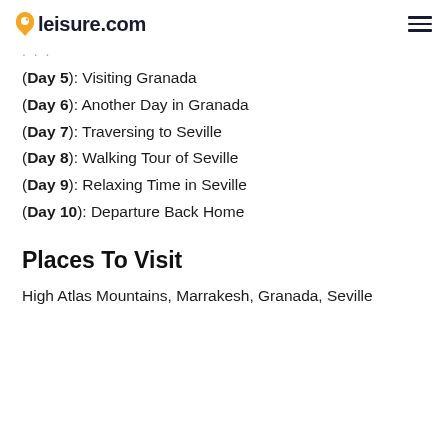leisure.com
(Day 5): Visiting Granada
(Day 6): Another Day in Granada
(Day 7): Traversing to Seville
(Day 8): Walking Tour of Seville
(Day 9): Relaxing Time in Seville
(Day 10): Departure Back Home
Places To Visit
High Atlas Mountains, Marrakesh, Granada, Seville